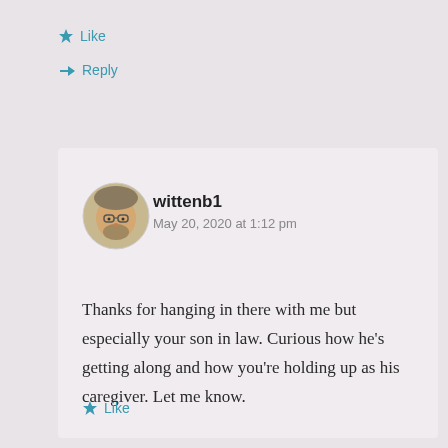★ Like
↳ Reply
wittenb1
May 20, 2020 at 1:12 pm
Thanks for hanging in there with me but especially your son in law. Curious how he's getting along and how you're holding up as his caregiver. Let me know.
★ Like